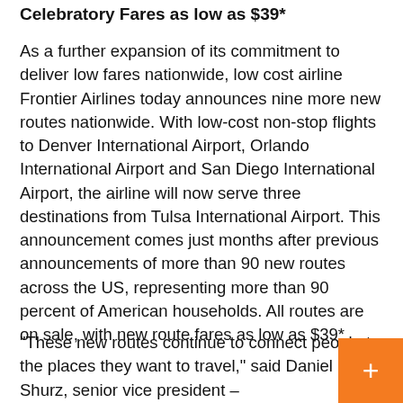Celebratory Fares as low as $39*
As a further expansion of its commitment to deliver low fares nationwide, low cost airline Frontier Airlines today announces nine more new routes nationwide. With low-cost non-stop flights to Denver International Airport, Orlando International Airport and San Diego International Airport, the airline will now serve three destinations from Tulsa International Airport. This announcement comes just months after previous announcements of more than 90 new routes across the US, representing more than 90 percent of American households. All routes are on sale, with new route fares as low as $39*.
"These new routes continue to connect people to the places they want to travel," said Daniel Shurz, senior vice president –